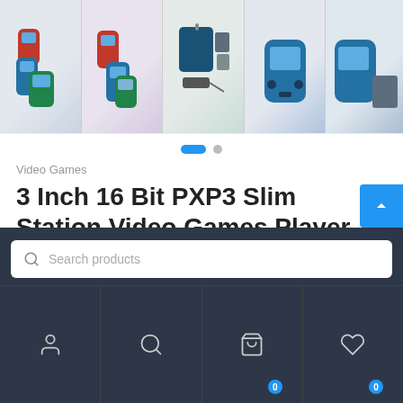[Figure (photo): Product image strip showing 5 thumbnail images of handheld game consoles (PXP3 Slim Station) in various colors including red, blue, green. First thumbnail is highlighted with blue underline. Third thumbnail shows a blue carrying case and accessories.]
Video Games
3 Inch 16 Bit PXP3 Slim Station Video Games Player Handheld Game +Free Game Card Console built-in 150 Classic Games
Add to Wishlist
[Figure (screenshot): Bottom navigation overlay with dark background, search bar, and icons for user profile, search, cart (0), and wishlist (0)]